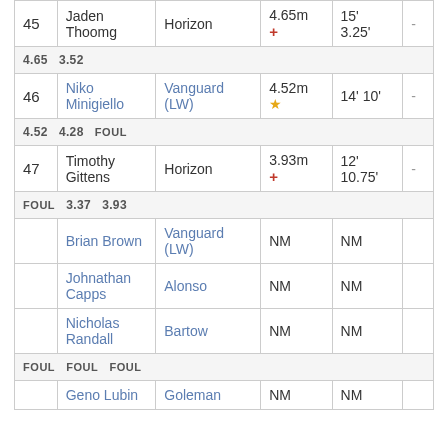| # | Name | School | Dist | Imperial | Pts |
| --- | --- | --- | --- | --- | --- |
| 45 | Jaden Thoomg | Horizon | 4.65m + | 15' 3.25' | - |
|  | 4.65  3.52 |  |  |  |  |
| 46 | Niko Minigiello | Vanguard (LW) | 4.52m ★ | 14' 10' | - |
|  | 4.52  4.28  FOUL |  |  |  |  |
| 47 | Timothy Gittens | Horizon | 3.93m + | 12' 10.75' | - |
|  | FOUL  3.37  3.93 |  |  |  |  |
|  | Brian Brown | Vanguard (LW) | NM | NM |  |
|  | Johnathan Capps | Alonso | NM | NM |  |
|  | Nicholas Randall | Bartow | NM | NM |  |
|  | FOUL  FOUL  FOUL |  |  |  |  |
|  | Geno Lubin | Goleman | NM | NM |  |